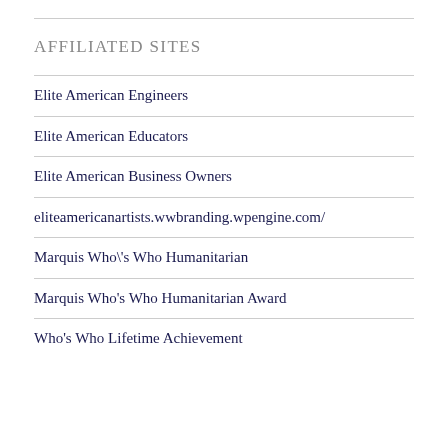AFFILIATED SITES
Elite American Engineers
Elite American Educators
Elite American Business Owners
eliteamericanartists.wwbranding.wpengine.com/
Marquis Who\'s Who Humanitarian
Marquis Who's Who Humanitarian Award
Who's Who Lifetime Achievement